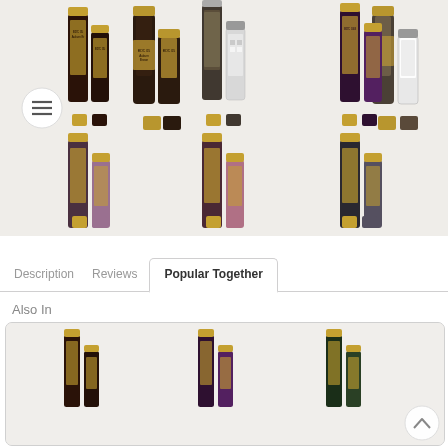[Figure (photo): Grid of 6 nail polish product sets (DND brand) arranged in 3 columns and 2 rows, showing dual-bottle sets in dark brown, glittery, purple, mauve, dusty rose, and charcoal colors, each with color swatches below. Menu hamburger icon button on the left.]
Description
Reviews
Popular Together
Also In
[Figure (photo): Carousel section showing partial view of 3 more DND nail polish dual-bottle product sets in dark colors (brown, dark red, dark green), inside a rounded rectangle card with a scroll-up arrow button at bottom right.]